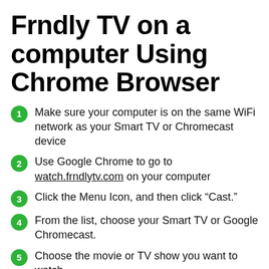Frndly TV on a computer Using Chrome Browser
Make sure your computer is on the same WiFi network as your Smart TV or Chromecast device
Use Google Chrome to go to watch.frndlytv.com on your computer
Click the Menu Icon, and then click “Cast.”
From the list, choose your Smart TV or Google Chromecast.
Choose the movie or TV show you want to watch.